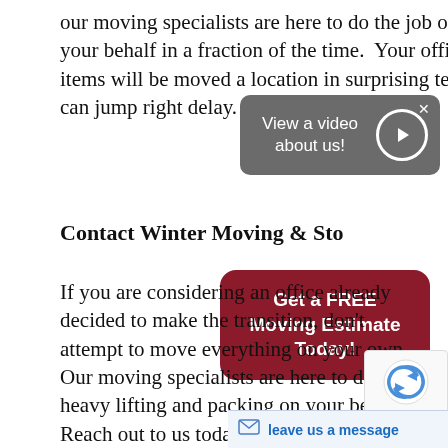our moving specialists are here to do the job on your behalf in a fraction of the time.  Your office items will be moved and location in surprising team can jump right delay.
[Figure (other): Gray rounded rectangle overlay with text 'View a video about us!' and a circular play button on the right. A close (x) button is in the top-right corner.]
Contact Winter Moving & Sto
[Figure (other): Dark red/maroon rounded rectangle button overlay with bold white text reading 'Get a FREE Moving Estimate Today!']
If you are considering an office already decided to make the transition, don't attempt to move everything on your own.  Our moving specialists are here to do the heavy lifting and packing on your behalf.  Reach out to us today at 1-800-435-6683 to learn more about our moving services.  If you prefer to reach us or fill out our online contact form and we will h touch at our earliest conv
[Figure (other): reCAPTCHA badge with circular arrows logo]
[Figure (other): Light blue message bar at the bottom right with email icon and text 'leave us a message' in blue]